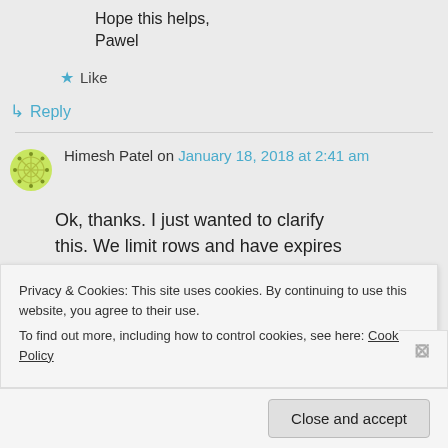Hope this helps,
Pawel
★ Like
↪ Reply
Himesh Patel on January 18, 2018 at 2:41 am
Ok, thanks. I just wanted to clarify this. We limit rows and have expires
Privacy & Cookies: This site uses cookies. By continuing to use this website, you agree to their use.
To find out more, including how to control cookies, see here: Cookie Policy
Close and accept